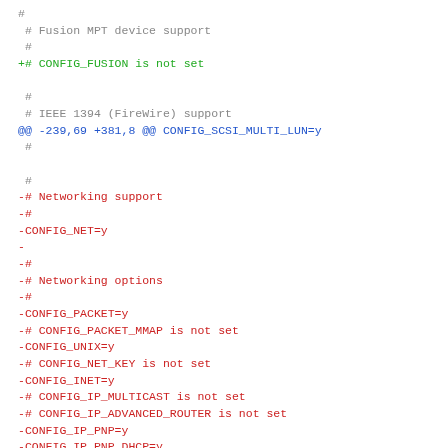# Fusion MPT device support
 #
+# CONFIG_FUSION is not set

 #
 # IEEE 1394 (FireWire) support
@@ -239,69 +381,8 @@ CONFIG_SCSI_MULTI_LUN=y
 #

 #
-# Networking support
-#
-CONFIG_NET=y
-
-#
-# Networking options
-#
-CONFIG_PACKET=y
-# CONFIG_PACKET_MMAP is not set
-CONFIG_UNIX=y
-# CONFIG_NET_KEY is not set
-CONFIG_INET=y
-# CONFIG_IP_MULTICAST is not set
-# CONFIG_IP_ADVANCED_ROUTER is not set
-CONFIG_IP_PNP=y
-CONFIG_IP_PNP_DHCP=y